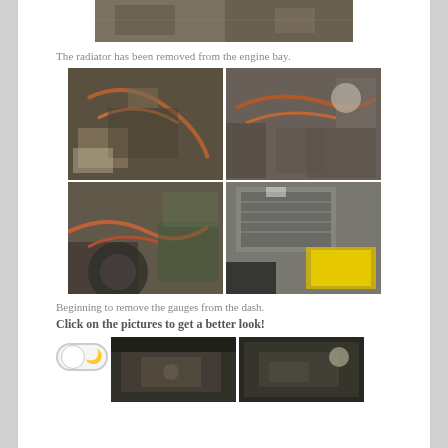[Figure (photo): Top photo showing vehicle undercarriage or interior metal parts in grey/brown tones]
The radiator has been removed from the engine bay.
[Figure (photo): Four photos in a 2x2 grid showing engine bay with hoses and mechanical parts, and a removed radiator with yellow toolbox]
Beginning to remove the gauges from the dash.
Click on the pictures to get a better look!
[Figure (photo): Two partial photos at the bottom showing dashboard gauges being removed, with a toggle button on the left]